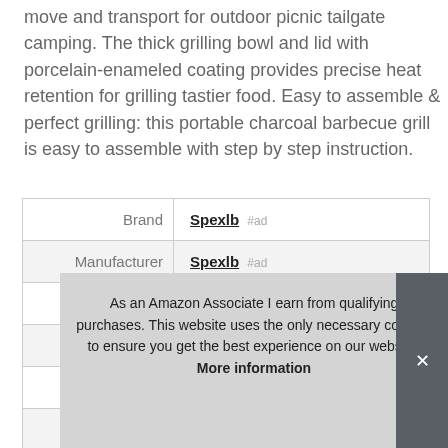move and transport for outdoor picnic tailgate camping. The thick grilling bowl and lid with porcelain-enameled coating provides precise heat retention for grilling tastier food. Easy to assemble & perfect grilling: this portable charcoal barbecue grill is easy to assemble with step by step instruction.
|  |  |
| --- | --- |
| Brand | Spexlb #ad |
| Manufacturer | Spexlb #ad |
| Height | 7 Inches |
| Length | 18 Inches |
| Width | 18 Inches |
| P |  |
As an Amazon Associate I earn from qualifying purchases. This website uses the only necessary cookies to ensure you get the best experience on our website. More information